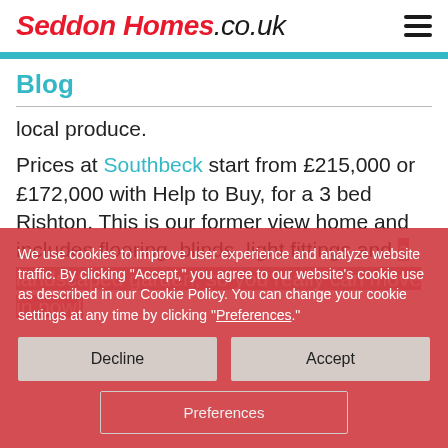Seddon Homes.co.uk
Blog
local produce.
Prices at Southbeck start from £215,000 or £172,000 with Help to Buy, for a 3 bed Rishton. This is our former view home and includes flooring, blinds, light fittings and a landscaped garden, so you really can move in now!
We use cookies to improve user experience and analyze website traffic. By clicking "Accept," you agree to our website's cookie use as described in our Cookie Policy. You can change your cookie settings at any time by clicking "Preferences."